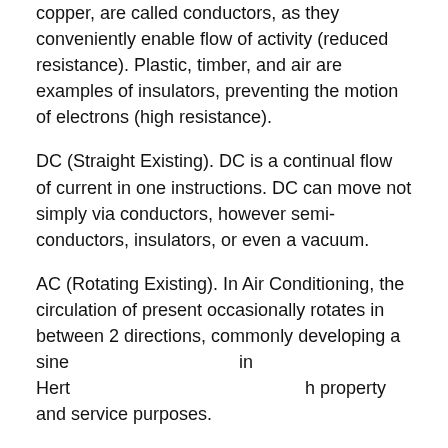copper, are called conductors, as they conveniently enable flow of activity (reduced resistance). Plastic, timber, and air are examples of insulators, preventing the motion of electrons (high resistance).
DC (Straight Existing). DC is a continual flow of current in one instructions. DC can move not simply via conductors, however semi-conductors, insulators, or even a vacuum.
AC (Rotating Existing). In Air Conditioning, the circulation of present occasionally rotates in between 2 directions, commonly developing a sine [wave.] [measured] in Hert[z. Electricity is used] [for bo]th property and service purposes.